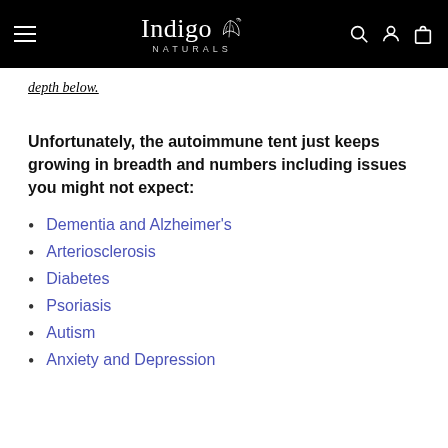Indigo Naturals
depth below.
Unfortunately, the autoimmune tent just keeps growing in breadth and numbers including issues you might not expect:
Dementia and Alzheimer's
Arteriosclerosis
Diabetes
Psoriasis
Autism
Anxiety and Depression